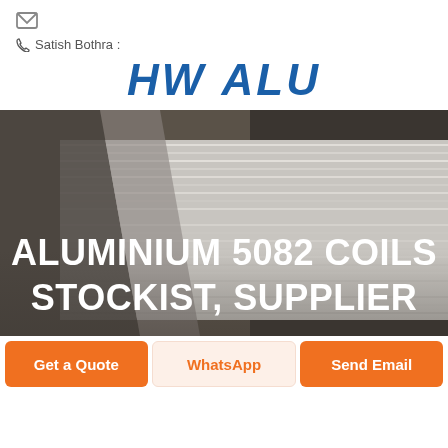[Figure (logo): Envelope/email icon (gray outline)]
Satish Bothra :
[Figure (logo): HWALU company logo in bold blue italic text]
[Figure (photo): Stack of flat aluminium coil/sheet panels piled at an angle, gray metallic tones, dark background, with large white bold text overlay reading: ALUMINIUM 5082 COILS STOCKIST, SUPPLIER]
Get a Quote
WhatsApp
Send Email